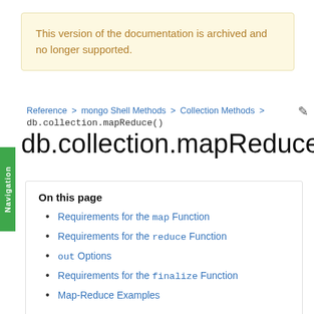This version of the documentation is archived and no longer supported.
Reference > mongo Shell Methods > Collection Methods > db.collection.mapReduce()
db.collection.mapReduce()
On this page
Requirements for the map Function
Requirements for the reduce Function
out Options
Requirements for the finalize Function
Map-Reduce Examples